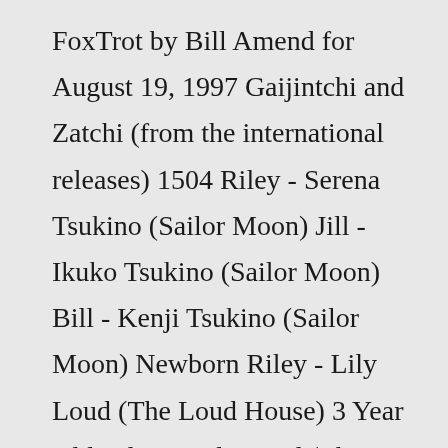FoxTrot by Bill Amend for August 19, 1997 Gaijintchi and Zatchi (from the international releases) 1504 Riley - Serena Tsukino (Sailor Moon) Jill - Ikuko Tsukino (Sailor Moon) Bill - Kenji Tsukino (Sailor Moon) Newborn Riley - Lily Loud (The Loud House) 3 Year Old Riley - Lola Loud (The Loud House) Joy - Lovelitchi … Nearly 50 versions of the Tamagotchi have released since the toy's launch Expected to sell for